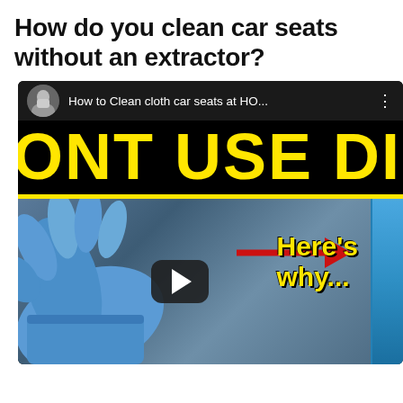How do you clean car seats without an extractor?
[Figure (screenshot): YouTube video thumbnail showing a car interior with cloth seats. Top bar shows channel avatar and title 'How to Clean cloth car seats at HO...' with three-dot menu. Large bold yellow text reads 'ONT USE DISH SOA' (part of DON'T USE DISH SOAP). Below a yellow horizontal line, the thumbnail shows a blue-gloved hand working on a dark car seat, a YouTube play button, a red arrow pointing right, and yellow text 'Here’s why...' A blue product container is partially visible at the right edge.]